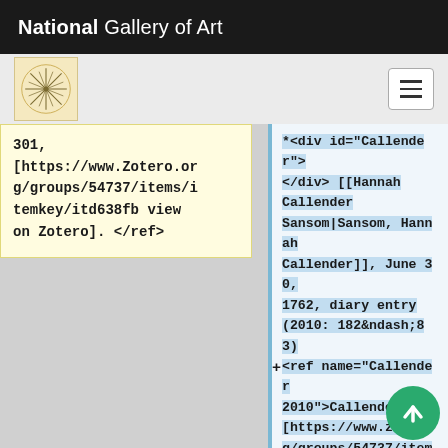National Gallery of Art
301, [https://www.Zotero.org/groups/54737/items/itemkey/itd638fb view on Zotero]. </ref>
*<div id="Callender"> </div> [[Hannah Callender Sansom|Sansom, Hannah Callender]], June 30, 1762, diary entry (2010: 182&ndash;83) +<ref name="Callender 2010">Callender 2 [https://www.zotero.org/groups/54737/items/itemkey/33E77BK] view